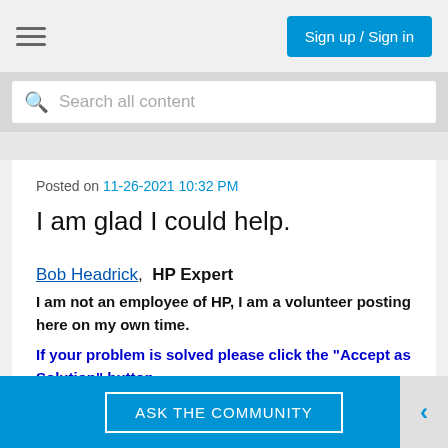Sign up / Sign in
Search all content
Posted on 11-26-2021 10:32 PM
I am glad I could help.
Bob Headrick,  HP Expert
I am not an employee of HP, I am a volunteer posting here on my own time.
If your problem is solved please click the "Accept as Solution" button
If my answer was helpful please click "Yes" to the "Was this post helpful" question.
ASK THE COMMUNITY